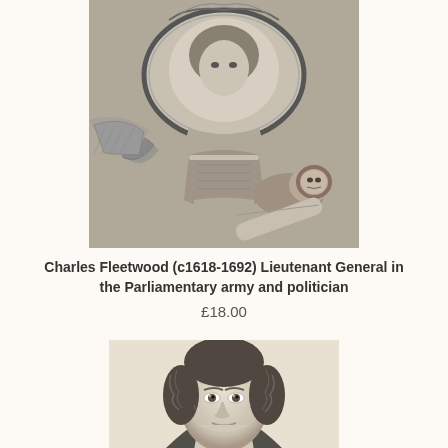[Figure (illustration): Historical engraving of Charles Fleetwood (c1618-1692), showing an ornate oval portrait with heraldic decorations including a lion and scroll at the bottom, rendered in black and white engraving style]
Charles Fleetwood (c1618-1692) Lieutenant General in the Parliamentary army and politician
£18.00
[Figure (illustration): Historical engraving portrait of a man with curly dark hair, shown from shoulders up, looking forward, rendered in black and white engraving style, partially cropped at bottom of page]